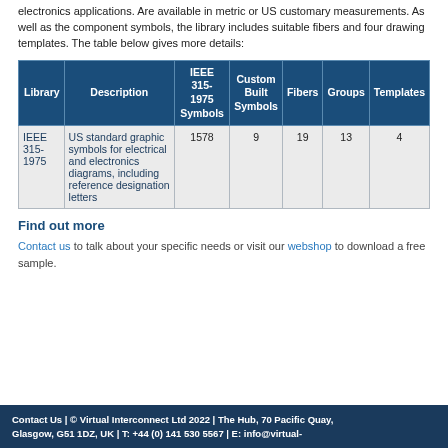electronics applications. Are available in metric or US customary measurements. As well as the component symbols, the library includes suitable fibers and four drawing templates. The table below gives more details:
| Library | Description | IEEE 315-1975 Symbols | Custom Built Symbols | Fibers | Groups | Templates |
| --- | --- | --- | --- | --- | --- | --- |
| IEEE 315-1975 | US standard graphic symbols for electrical and electronics diagrams, including reference designation letters | 1578 | 9 | 19 | 13 | 4 |
Find out more
Contact us to talk about your specific needs or visit our webshop to download a free sample.
Contact Us  |  © Virtual Interconnect Ltd 2022  |  The Hub, 70 Pacific Quay, Glasgow, G51 1DZ, UK  |  T: +44 (0) 141 530 5567  |  E: info@virtual-